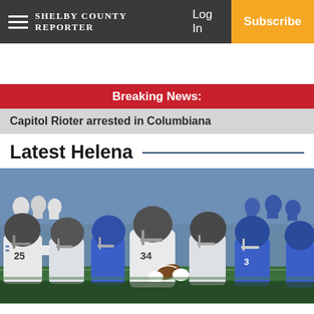Shelby County Reporter | Log In | Subscribe
Breaking News:
Capitol Rioter arrested in Columbiana
Latest Helena
[Figure (photo): Football game action shot showing players in white and dark uniforms. A ball carrier wearing number 34 pushes through defenders. Players in blue uniforms on the right. Crowd visible in background.]